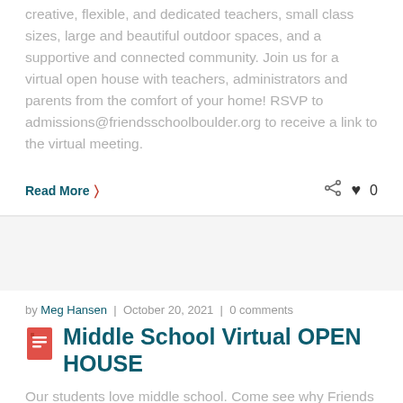creative, flexible, and dedicated teachers, small class sizes, large and beautiful outdoor spaces, and a supportive and connected community. Join us for a virtual open house with teachers, administrators and parents from the comfort of your home! RSVP to admissions@friendsschoolboulder.org to receive a link to the virtual meeting.
Read More >
by Meg Hansen | October 20, 2021 | 0 comments
Middle School Virtual OPEN HOUSE
Our students love middle school. Come see why Friends Middle School b...